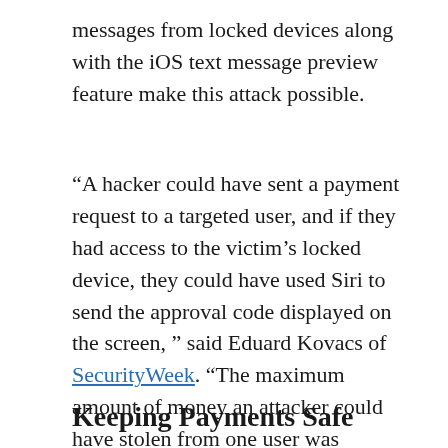messages from locked devices along with the iOS text message preview feature make this attack possible.
“A hacker could have sent a payment request to a targeted user, and if they had access to the victim’s locked device, they could have used Siri to send the approval code displayed on the screen, ” said Eduard Kovacs of SecurityWeek. “The maximum amount of money an attacker could have stolen from one user was $2,999.99 per week, which is the weekly limit set by the developer.”
Keeping Payments Safe